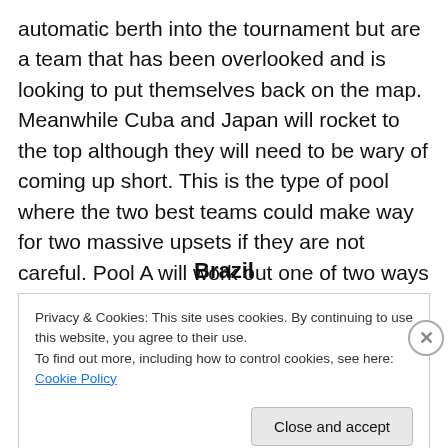automatic berth into the tournament but are a team that has been overlooked and is looking to put themselves back on the map. Meanwhile Cuba and Japan will rocket to the top although they will need to be wary of coming up short. This is the type of pool where the two best teams could make way for two massive upsets if they are not careful. Pool A will work out one of two ways as two teams will dominate or one of the two major powers will come up short in a massive upset.
Brazil
Privacy & Cookies: This site uses cookies. By continuing to use this website, you agree to their use.
To find out more, including how to control cookies, see here: Cookie Policy
Close and accept